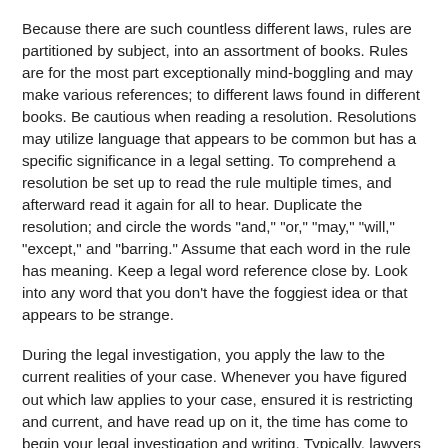Because there are such countless different laws, rules are partitioned by subject, into an assortment of books. Rules are for the most part exceptionally mind-boggling and may make various references; to different laws found in different books. Be cautious when reading a resolution. Resolutions may utilize language that appears to be common but has a specific significance in a legal setting. To comprehend a resolution be set up to read the rule multiple times, and afterward read it again for all to hear. Duplicate the resolution; and circle the words "and," "or," "may," "will," "except," and "barring." Assume that each word in the rule has meaning. Keep a legal word reference close by. Look into any word that you don't have the foggiest idea or that appears to be strange.
During the legal investigation, you apply the law to the current realities of your case. Whenever you have figured out which law applies to your case, ensured it is restricting and current, and have read up on it, the time has come to begin your legal investigation and writing. Typically, lawyers will write a record known as a "legal reminder" at this stage. A legal notice; sums up current realities, expresses the issue